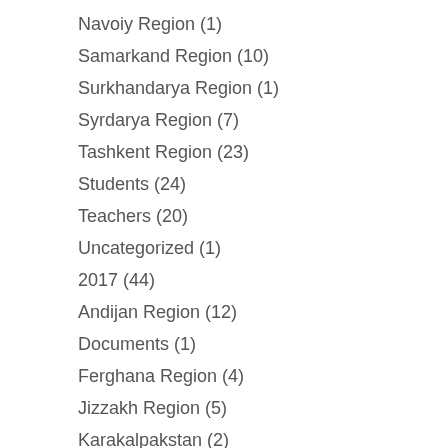Navoiy Region (1)
Samarkand Region (10)
Surkhandarya Region (1)
Syrdarya Region (7)
Tashkent Region (23)
Students (24)
Teachers (20)
Uncategorized (1)
2017 (44)
Andijan Region (12)
Documents (1)
Ferghana Region (4)
Jizzakh Region (5)
Karakalpakstan (2)
Kashkadarya Region (1)
Khorezm (2)
Namangan (2)